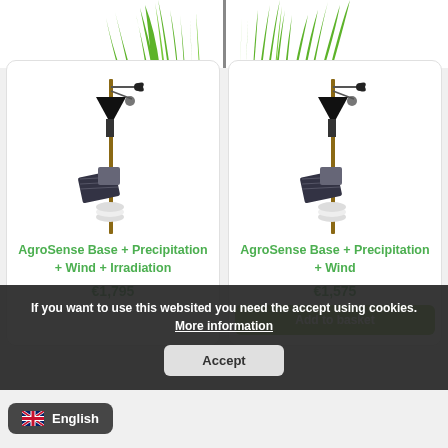[Figure (illustration): Green grass and plant stems against white background, decorative banner at top of page]
[Figure (photo): AgroSense weather station with solar panel, rain gauge, anemometer on a pole]
AgroSense Base + Precipitation + Wind + Irradiation
€1,795
[Figure (photo): AgroSense weather station with solar panel, rain gauge, anemometer on a pole]
AgroSense Base + Precipitation + Wind
€1,575
Add to basket
If you want to use this websited you need the accept using cookies. More information
Accept
English